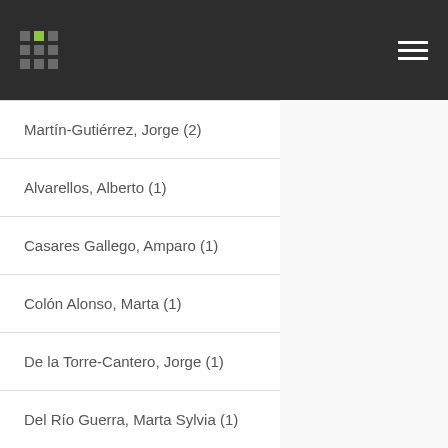Martín-Gutiérrez, Jorge (2)
Alvarellos, Alberto (1)
Casares Gallego, Amparo (1)
Colón Alonso, Marta (1)
De la Torre-Cantero, Jorge (1)
Del Río Guerra, Marta Sylvia (1)
... máis
Materia